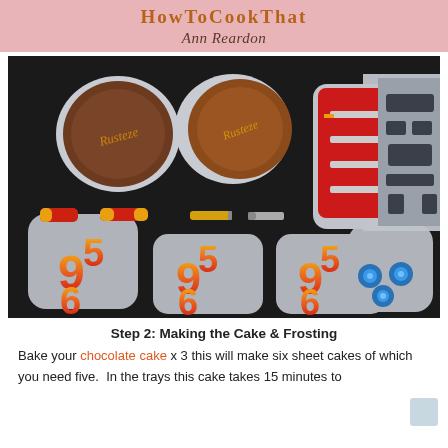How To Cook That — Ann Reardon
[Figure (photo): Overhead photo of cake decoration pieces laid out on a dark baking tray. Items include chocolate discs with 'Rusteze' logos, a red paneled piece with bolts, a grey shield-shaped Transformers logo piece, small red and gold cylindrical pieces, three sets of '95' numbers in red/yellow/orange gradient on grey fondant bases, and three blue sequin eyes on a grey fondant base.]
Step 2: Making the Cake & Frosting
Bake your chocolate cake x 3 this will make six sheet cakes of which you need five.  In the trays this cake takes 15 minutes to